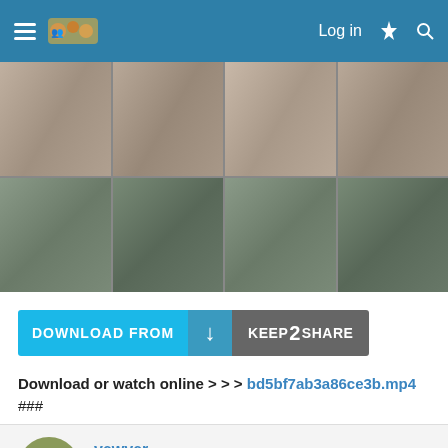Log in
[Figure (photo): Thumbnail grid of video screenshots in a 4x2 grid layout]
[Figure (screenshot): Download from Keep2Share button]
Download or watch online > > > bd5bf7ab3a86ce3b.mp4
###
vewver
Active Member
Jan 11, 2022
#10,122
[Figure (photo): Bottom partial photo of a person]